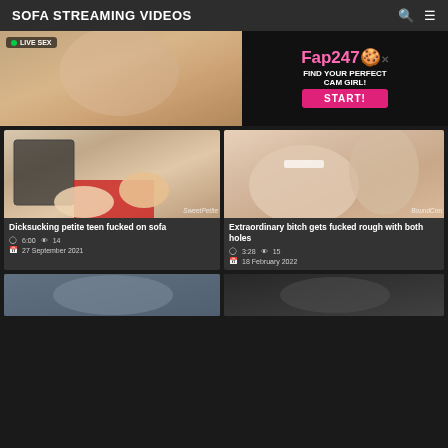SOFA STREAMING VIDEOS
[Figure (photo): Adult website advertisement banner with live sex cam and Fap247 promotional content]
[Figure (photo): Video thumbnail: Dicksucking petite teen fucked on sofa with watermark SweetPetite]
Dicksucking petite teen fucked on sofa
6:00  14  27 September 2021
[Figure (photo): Video thumbnail: Extraordinary bitch gets fucked rough with both holes with watermark BoundCon]
Extraordinary bitch gets fucked rough with both holes
3:28  15  18 February 2022
[Figure (photo): Bottom row partial video thumbnails]
[Figure (photo): Bottom row partial video thumbnail right]